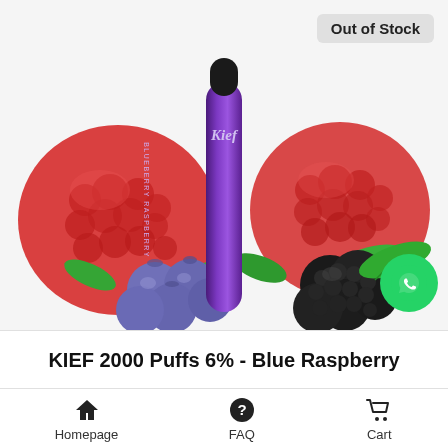[Figure (photo): Product photo of KIEF 2000 Puffs 6% Blue Raspberry disposable vape pen (purple/violet metallic body with 'Kief' logo) surrounded by blueberries, blackberries, and red raspberries on a white/light background. An 'Out of Stock' badge appears in the upper right. A WhatsApp button appears in the lower right.]
KIEF 2000 Puffs 6% - Blue Raspberry
Homepage  FAQ  Cart